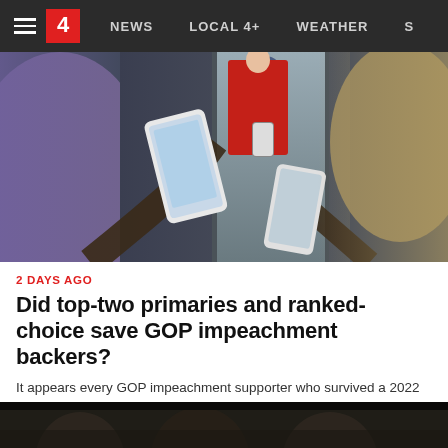NEWS  LOCAL 4+  WEATHER  S
[Figure (photo): People in a hallway or elevator, someone in a red jacket, hands holding smartphones pointed at the subject, blurred figures on left and right edges]
2 DAYS AGO
Did top-two primaries and ranked-choice save GOP impeachment backers?
It appears every GOP impeachment supporter who survived a 2022 primary will have done so in a top-two or ranked-choice system....
washingtonpost.com
[Figure (photo): Partial bottom image showing people in dark formal attire, appears to be a congressional or political setting, mostly dark tones]